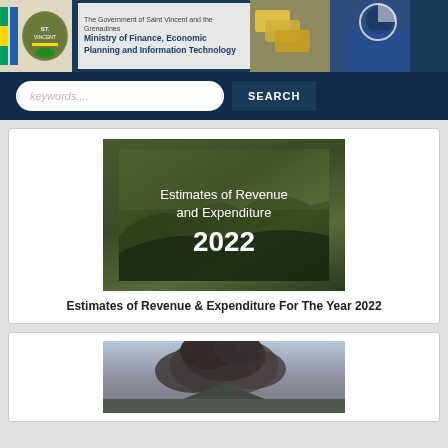[Figure (logo): Government of Saint Vincent and the Grenadines logo with coat of arms, ministry name header with collage of financial imagery on right]
keywords....
SEARCH
[Figure (photo): Document cover: dark olive/green background with white text reading 'Estimates of Revenue and Expenditure 2022']
Estimates of Revenue & Expenditure For The Year 2022
[Figure (photo): Aerial photograph of volcanic eruption with dark ash cloud rising against sky]